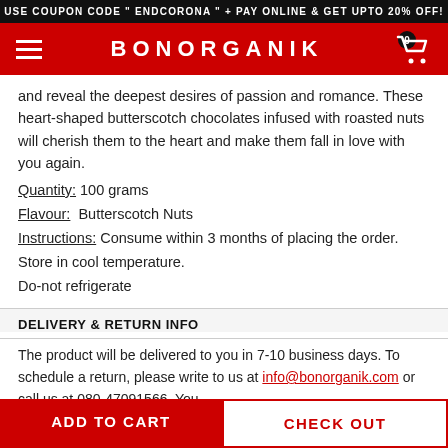USE COUPON CODE " ENDCORONA " + PAY ONLINE & GET UPTO 20% OFF!
BONORGANIK
and reveal the deepest desires of passion and romance. These heart-shaped butterscotch chocolates infused with roasted nuts will cherish them to the heart and make them fall in love with you again.
Quantity: 100 grams
Flavour: Butterscotch Nuts
Instructions: Consume within 3 months of placing the order.
Store in cool temperature.
Do-not refrigerate
DELIVERY & RETURN INFO
The product will be delivered to you in 7-10 business days. To schedule a return, please write to us at info@bonorganik.com or call us at 080-47091566. You